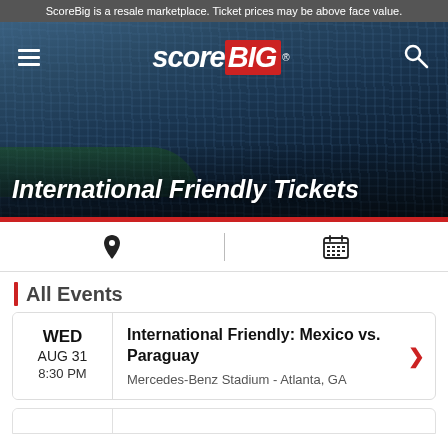ScoreBig is a resale marketplace. Ticket prices may be above face value.
[Figure (screenshot): ScoreBig website hero banner showing a stadium crowd with navigation bar containing hamburger menu, ScoreBig logo, and search icon. Red accent bar at bottom.]
International Friendly Tickets
[Figure (infographic): Filter bar with location pin icon and calendar icon separated by a vertical divider]
All Events
WED AUG 31 8:30 PM
International Friendly: Mexico vs. Paraguay
Mercedes-Benz Stadium - Atlanta, GA